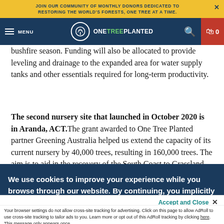JOIN OUR COMMUNITY OF MONTHLY DONORS DEDICATED TO RESTORING THE WORLD'S FORESTS, ONE TREE AT A TIME.
[Figure (logo): OneTreePlanted logo with navigation bar including MENU, search icon, and cart icon showing 0]
bushfire season. Funding will also be allocated to provide leveling and drainage to the expanded area for water supply tanks and other essentials required for long-term productivity.
The second nursery site that launched in October 2020 is in Aranda, ACT. The grant awarded to One Tree Planted partner Greening Australia helped us extend the capacity of its current nursery by 40,000 trees, resulting in 160,000 trees. The aim is to aid in the recovery of the South Coast to Grassland ecosystems. The funding also allocated towards turnstiles, irrigation systems, nursery benches and trolleys, and essential planting supplies
We use cookies to improve your experience while you browse through our website. By continuing, you implicitly agree to the terms of our Privacy Policy.
Accept and Close ×
Your browser settings do not allow cross-site tracking for advertising. Click on this page to allow AdRoll to use cross-site tracking to tailor ads to you. Learn more or opt out of this AdRoll tracking by clicking here. This message only appears once.